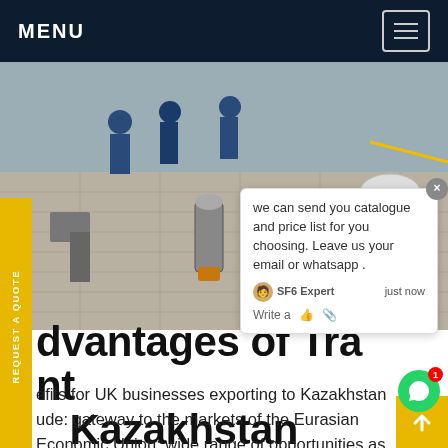MENU
[Figure (photo): Industrial workers on a platform/deck with equipment including a stainless steel vacuum unit; yellow safety barriers visible in background]
REQUEST A QUOTE
we can send you catalogue and price list for you choosing. Leave us your email or whatsapp .
dvantages of Tra t Kazakhstan
efits for UK businesses exporting to Kazakhstan ude: gateway to the markets of the Eurasian Economic Union; wide range of opportunities as economy diversifies; gateway to central Asian marketsGet price